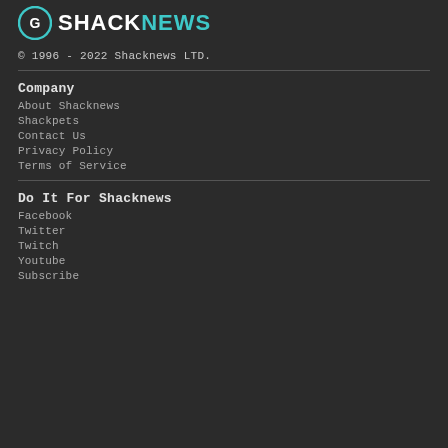[Figure (logo): Shacknews logo with circular icon and text SHACKNEWS where SHACK is white and NEWS is teal]
© 1996 - 2022 Shacknews LTD.
Company
About Shacknews
Shackpets
Contact Us
Privacy Policy
Terms of Service
Do It For Shacknews
Facebook
Twitter
Twitch
Youtube
Subscribe